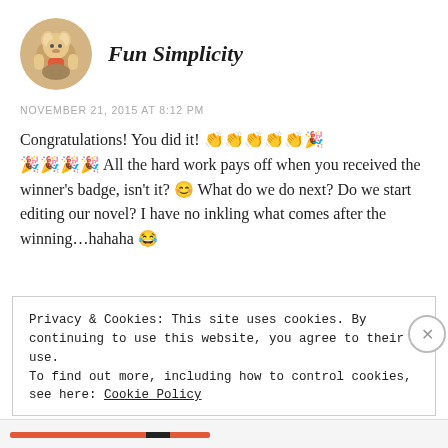Fun Simplicity
NOVEMBER 21, 2015 AT 8:12 PM
Congratulations! You did it! 👏👏👏👏👏🎉🎉🎉🎉🎉 All the hard work pays off when you received the winner's badge, isn't it? 😊 What do we do next? Do we start editing our novel? I have no inkling what comes after the winning…hahaha 😂
Privacy & Cookies: This site uses cookies. By continuing to use this website, you agree to their use.
To find out more, including how to control cookies, see here: Cookie Policy